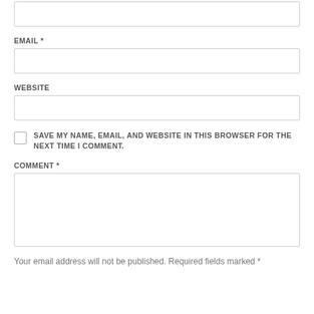(empty input field at top)
EMAIL *
(email input field)
WEBSITE
(website input field)
SAVE MY NAME, EMAIL, AND WEBSITE IN THIS BROWSER FOR THE NEXT TIME I COMMENT.
COMMENT *
(comment textarea)
Your email address will not be published. Required fields marked *